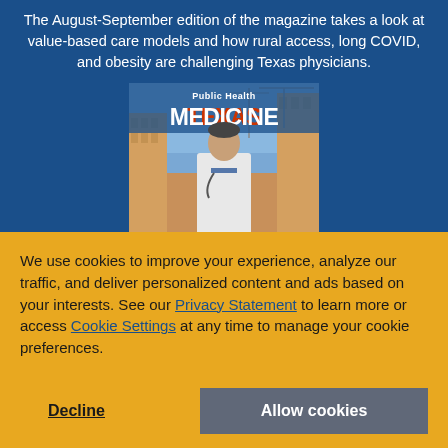The August-September edition of the magazine takes a look at value-based care models and how rural access, long COVID, and obesity are challenging Texas physicians.
[Figure (photo): Cover of Texas Medicine magazine, Public Health edition, showing a physician in a white coat standing outdoors with construction cranes and buildings in the background. Title reads 'Public Health TEXAS MEDICINE' in bold red letters.]
We use cookies to improve your experience, analyze our traffic, and deliver personalized content and ads based on your interests. See our Privacy Statement to learn more or access Cookie Settings at any time to manage your cookie preferences.